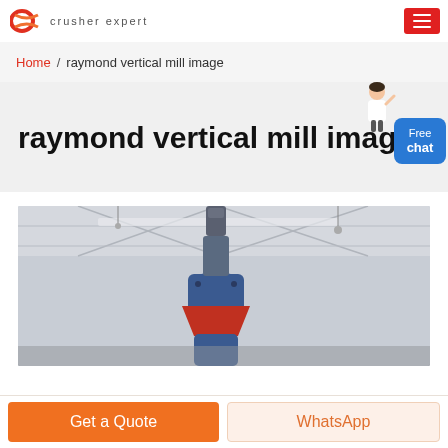crusher expert
Home / raymond vertical mill image
raymond vertical mill image
[Figure (photo): Close-up photo of the top of a raymond vertical mill machine inside an industrial building, showing the upper mechanical assembly with blue and red components against a warehouse ceiling with steel trusses]
Get a Quote
WhatsApp